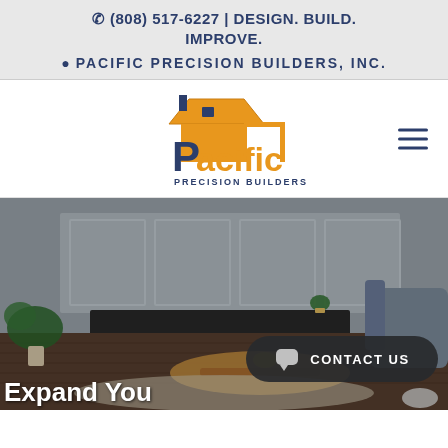☎ (808) 517-6227 | DESIGN. BUILD. IMPROVE.
📍 PACIFIC PRECISION BUILDERS, INC.
[Figure (logo): Pacific Precision Builders logo with house icon and orange/brown text]
[Figure (photo): Interior living room photo showing sofa, coffee table with yellow figurine, plants, white paneled wall]
CONTACT US
Expand You